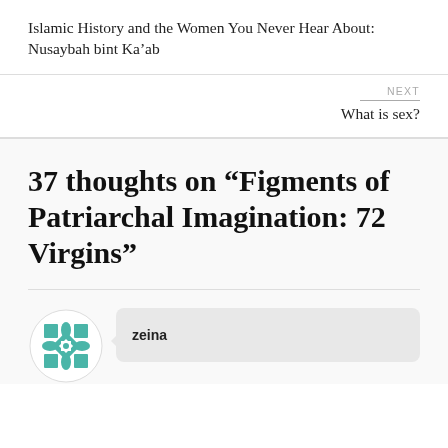Islamic History and the Women You Never Hear About: Nusaybah bint Ka’ab
NEXT
What is sex?
37 thoughts on “Figments of Patriarchal Imagination: 72 Virgins”
zeina